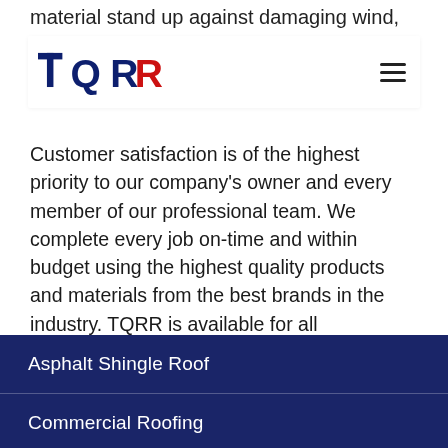material stand up against damaging wind, hail and ice storms, but it can also save you money on your
[Figure (logo): TQRR logo — bold navy blue letters 'TQRR' with red accent on last R, company name/brand logo]
Customer satisfaction is of the highest priority to our company's owner and every member of our professional team. We complete every job on-time and within budget using the highest quality products and materials from the best brands in the industry. TQRR is available for all interior/exterior home improvement renovations for roofing, siding, windows & doors, gutters & downspouts, painting services and storm damage restoration.
Asphalt Shingle Roof
Commercial Roofing